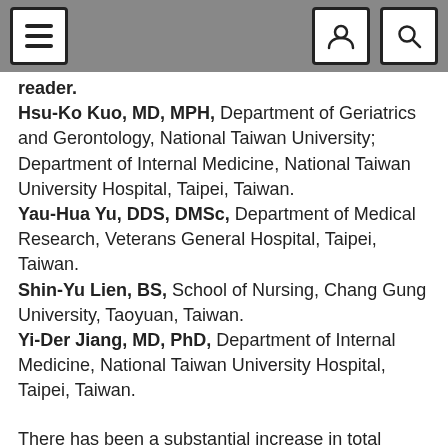reader.
Hsu-Ko Kuo, MD, MPH, Department of Geriatrics and Gerontology, National Taiwan University; Department of Internal Medicine, National Taiwan University Hospital, Taipei, Taiwan.
Yau-Hua Yu, DDS, DMSc, Department of Medical Research, Veterans General Hospital, Taipei, Taiwan.
Shin-Yu Lien, BS, School of Nursing, Chang Gung University, Taoyuan, Taiwan.
Yi-Der Jiang, MD, PhD, Department of Internal Medicine, National Taiwan University Hospital, Taipei, Taiwan.
There has been a substantial increase in total cases of diabetes mellitus in industrialized countries among older adults. Diabetes mellitus has been increasingly recognized as a risk factor for